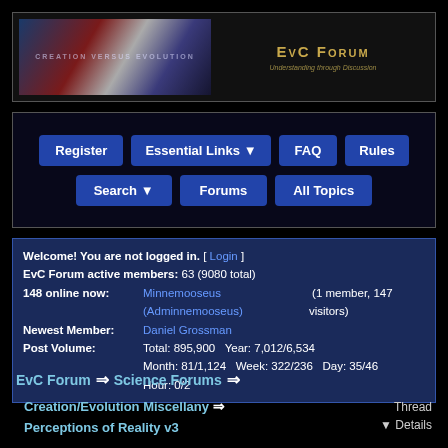[Figure (screenshot): EvC Forum header banner with 'Creation Versus Evolution' stylized image on the left and 'EvC Forum – Understanding through Discussion' title on the right in gold text on dark background]
[Figure (screenshot): Navigation buttons: Register, Essential Links (dropdown), FAQ, Rules in top row; Search (dropdown), Forums, All Topics in second row — all blue buttons on dark background]
Welcome! You are not logged in. [ Login ]
EvC Forum active members: 63 (9080 total)
148 online now: Minnemooseus (Adminnemooseus) (1 member, 147 visitors)
Newest Member: Daniel Grossman
Post Volume: Total: 895,900   Year: 7,012/6,534
Month: 81/1,124   Week: 322/236   Day: 35/46
Hour: 0/2
EvC Forum ⇒ Science Forums ⇒
Creation/Evolution Miscellany ⇒
Perceptions of Reality v3
Thread
▼ Details